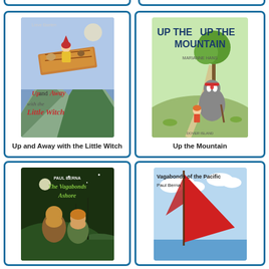[Figure (illustration): Book cover: Up and Away with the Little Witch — shows a girl in yellow dress flying on a magic carpet with animals, mountains below]
Up and Away with the Little Witch
[Figure (illustration): Book cover: Up the Mountain — shows a badger and small child walking up a hill path, with a tree and green scenery]
Up the Mountain
[Figure (illustration): Book cover: The Vagabonds Ashore by Paul Berna — shows two young people in a green landscape at night]
[Figure (illustration): Book cover: Vagabonds of the Pacific by Paul Berna — shows a red sail against blue sky with clouds]